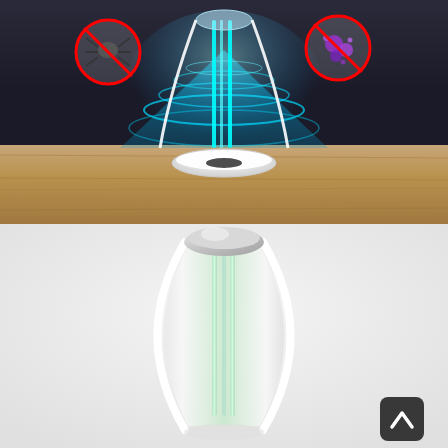[Figure (photo): UV sterilization lamp device on a wooden surface emitting cyan/blue UV light beams and swirling energy field. Two red prohibition circle icons are shown: one with a mite/bug on the left, one with bacteria/germs on the right, indicating the device kills these pathogens. The device is white with an oval/dome shape and sits on an elliptical base.]
[Figure (photo): White egg/bullet-shaped UV sterilization lamp device against a light grey background. The device has a silver/grey dome top, a transparent oval glass body with vertical green-tinted UV lamp tubes visible inside, and white outer frame ribs. A black circular button/icon with an upward chevron arrow appears in the bottom-right corner.]